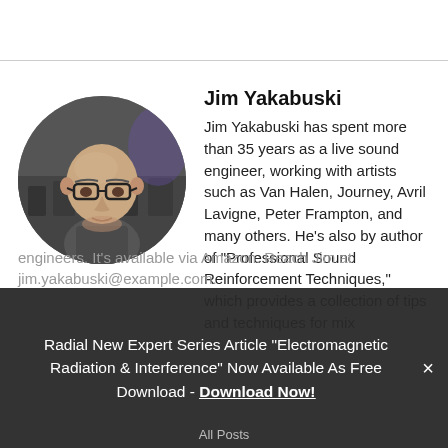[Figure (photo): Circular portrait photo of Jim Yakabuski, a bald man with glasses wearing a dark gray shirt, with stage equipment visible in the background]
Jim Yakabuski
Jim Yakabuski has spent more than 35 years as a live sound engineer, working with artists such as Van Halen, Journey, Avril Lavigne, Peter Frampton, and many others. He's also by author of "Professional Sound Reinforcement Techniques," which provides a collection of tips and techniques for mix engineers. It's available via Amazon. Reach Jim at jim.yakabuski@example.com.
Radial New Expert Series Article “Electromagnetic Radiation & Interference” Now Available As Free Download - Download Now!
All Posts